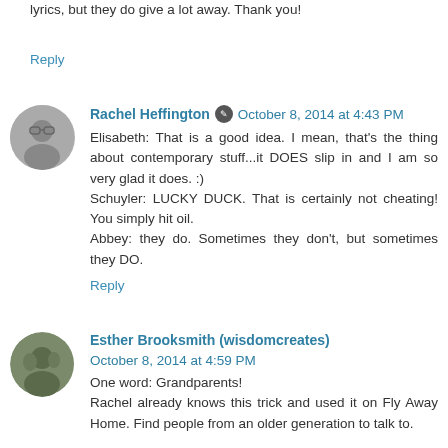lyrics, but they do give a lot away. Thank you!
Reply
Rachel Heffington  October 8, 2014 at 4:43 PM
Elisabeth: That is a good idea. I mean, that's the thing about contemporary stuff...it DOES slip in and I am so very glad it does. :)
Schuyler: LUCKY DUCK. That is certainly not cheating! You simply hit oil.
Abbey: they do. Sometimes they don't, but sometimes they DO.
Reply
Esther Brooksmith (wisdomcreates)  October 8, 2014 at 4:59 PM
One word: Grandparents!
Rachel already knows this trick and used it on Fly Away Home. Find people from an older generation to talk to.